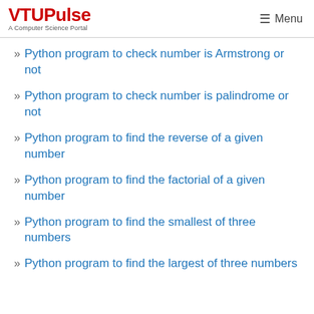VTUPulse A Computer Science Portal | Menu
Python program to check number is Armstrong or not
Python program to check number is palindrome or not
Python program to find the reverse of a given number
Python program to find the factorial of a given number
Python program to find the smallest of three numbers
Python program to find the largest of three numbers